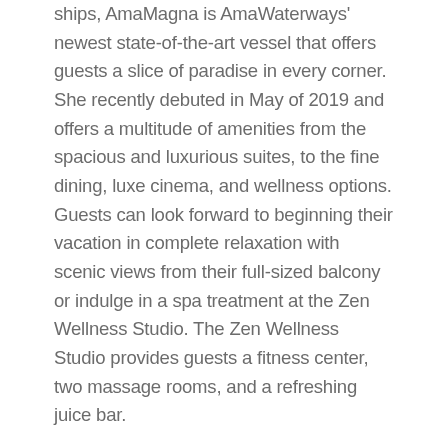ships, AmaMagna is AmaWaterways' newest state-of-the-art vessel that offers guests a slice of paradise in every corner. She recently debuted in May of 2019 and offers a multitude of amenities from the spacious and luxurious suites, to the fine dining, luxe cinema, and wellness options. Guests can look forward to beginning their vacation in complete relaxation with scenic views from their full-sized balcony or indulge in a spa treatment at the Zen Wellness Studio. The Zen Wellness Studio provides guests a fitness center, two massage rooms, and a refreshing juice bar.
For dining, guests can visit four restaurants including: The Main Restaurant, the Al Fresco Restaurant, The Chef's Table, and Jimmy's. For a taste of adventure, guests can embark on the Sundowner boat for an intimate excursion. These are a few of the many amenity's guests can relish in while sailing to their destination.